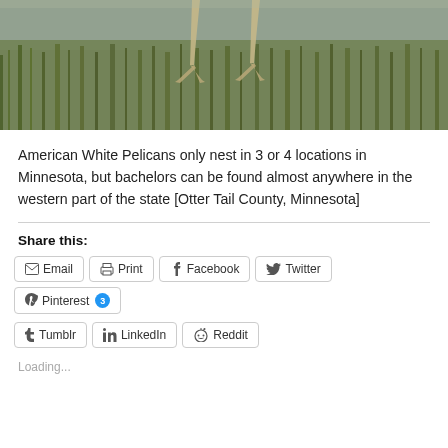[Figure (photo): Close-up photo of American White Pelican legs standing in water among green reeds/grasses, blurred background]
American White Pelicans only nest in 3 or 4 locations in Minnesota, but bachelors can be found almost anywhere in the western part of the state [Otter Tail County, Minnesota]
Share this:
Email | Print | Facebook | Twitter | Pinterest 3 | Tumblr | LinkedIn | Reddit
Loading...